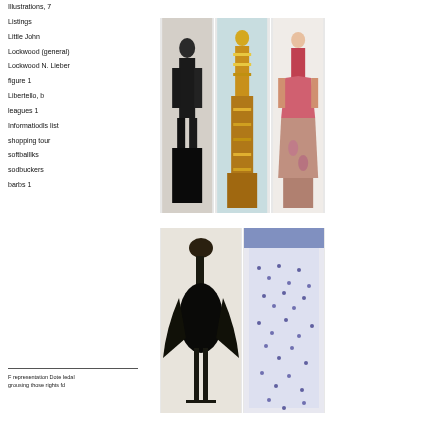Illustrations, 7
Listings
Little John
Lockwood (general)
Lockwood N. Lieber
figure 1
Libertello, b
leagues 1
Informatiodls list
shopping tour
softballlks
sodbuckers
barbs 1
[Figure (illustration): Three vertical strips showing painted or illustrated scenes with figures]
[Figure (illustration): Two vertical strips showing painted or illustrated scenes with dark and dotted figures]
F representation Dote Iedal
grousing those rights fd